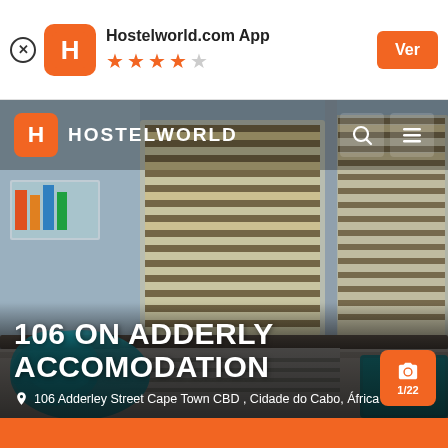[Figure (screenshot): Hostelworld.com app banner at top with orange H logo, 4.5 star rating, and orange Ver button]
[Figure (photo): Hotel room interior with horizontal window blinds, teal/turquoise decorative pillows on a bed, and wall art visible]
106 ON ADDERLY ACCOMODATION
106 Adderley Street Cape Town CBD , Cidade do Cabo, África do Sul